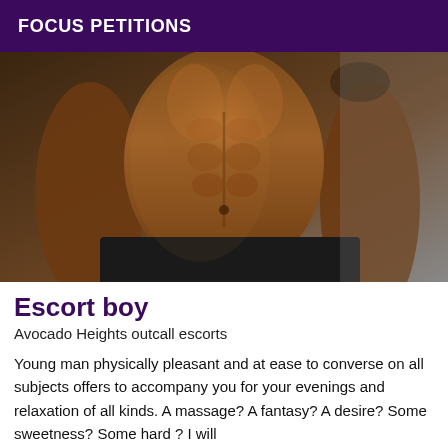FOCUS PETITIONS
[Figure (photo): Torso of a muscular man with dark skin, shirtless, wearing black shorts, photographed from mid-chest to thighs against a dark background.]
Escort boy
Avocado Heights outcall escorts
Young man physically pleasant and at ease to converse on all subjects offers to accompany you for your evenings and relaxation of all kinds. A massage? A fantasy? A desire? Some sweetness? Some hard ? I will